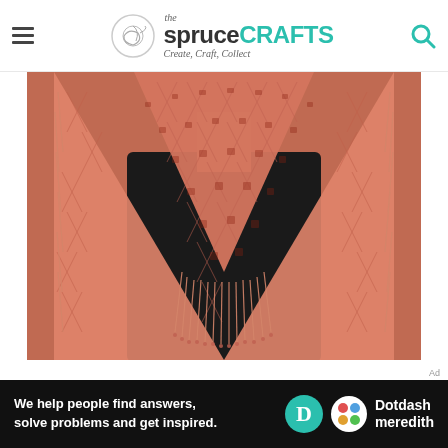the spruceCRAFTS — Create, Craft, Collect
[Figure (photo): A person wearing a coral/salmon colored crocheted triangle shawl with fringe, worn over a black outfit. The shawl has an open lacework pattern.]
We help people find answers, solve problems and get inspired. — Dotdash meredith